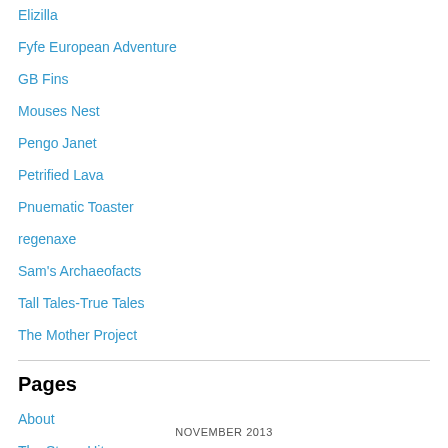Elizilla
Fyfe European Adventure
GB Fins
Mouses Nest
Pengo Janet
Petrified Lava
Pnuematic Toaster
regenaxe
Sam's Archaeofacts
Tall Tales-True Tales
The Mother Project
Pages
About
The Storm Hits
NOVEMBER 2013